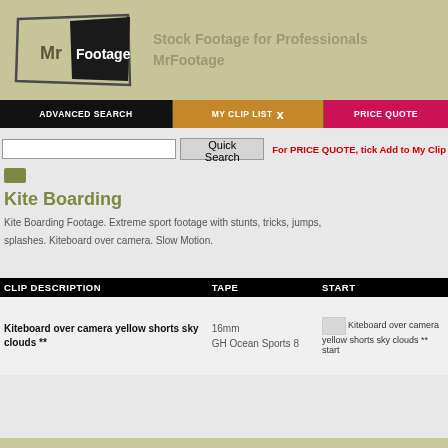Stock Footage for Professionals MrFootage
ADVANCED SEARCH | MY CLIP LIST | PRICE QUOTE
For PRICE QUOTE, tick Add to My Clip
[Figure (screenshot): MrFootage logo with Mr Footage text in black trapezoid shape]
Kite Boarding
Kite Boarding Footage. Extreme sport footage with stunts, tricks, jumps, splashes. Kiteboard over camera. Slow Motion.
| CLIP DESCRIPTION | TAPE | START |
| --- | --- | --- |
| Kiteboard over camera yellow shorts sky clouds ** | 16mm
GH Ocean Sports 8 | Kiteboard over camera yellow shorts sky clouds ** start |